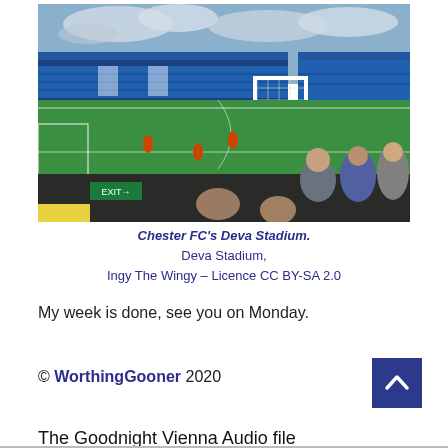[Figure (photo): Photograph of Chester FC's Deva Stadium — a football ground with blue stands, a green pitch, players and spectators visible, taken from the terraces.]
Chester FC's Deva Stadium.
Deva Stadium,
Ingy The Wingy – Licence CC BY-SA 2.0
My week is done, see you on Monday.
© WorthingGooner 2020
The Goodnight Vienna Audio file